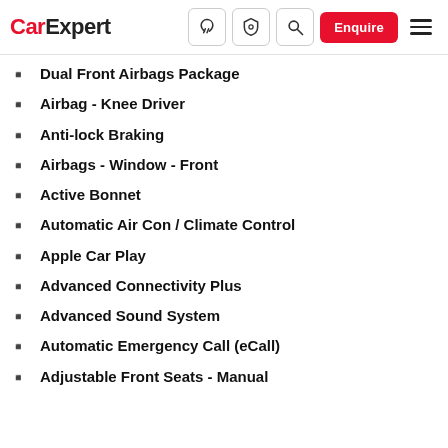CarExpert
Dual Front Airbags Package
Airbag - Knee Driver
Anti-lock Braking
Airbags - Window - Front
Active Bonnet
Automatic Air Con / Climate Control
Apple Car Play
Advanced Connectivity Plus
Advanced Sound System
Automatic Emergency Call (eCall)
Adjustable Front Seats - Manual